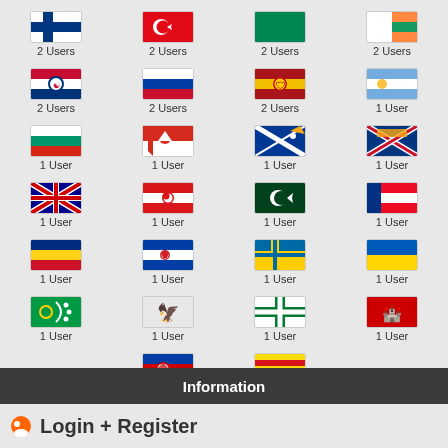[Figure (infographic): Grid of country/region flags each labeled with user count. Row 1: Finland 2 Users, Turkey 2 Users, Nigeria/green flag 2 Users, Ireland 2 Users. Row 2: South Korea 2 Users, Russia 2 Users, Spain 2 Users, Argentina 1 User. Row 3: Bulgaria 1 User, Chile 1 User, Marshall Islands 1 User, Namibia 1 User. Row 4: Australia 1 User, Oman 1 User, Pakistan 1 User, Puerto Rico 1 User. Row 5: Romania 1 User, Slovenia 1 User, Sweden 1 User, Ukraine 1 User. Row 6: Cocos Islands 1 User, unknown black bird emblem 1 User, Devon/green cross flag 1 User, Gibraltar 1 User. Row 7: Yugoslavia 1 User, Catalonia 1 User.]
Information
Login + Register